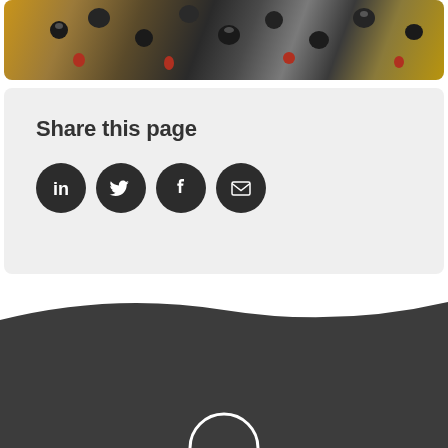[Figure (photo): Close-up photo of bees/insects clustered together, with dark round shapes and reddish insect bodies on a golden/brown background]
Share this page
[Figure (infographic): Four dark circular social media share icons: LinkedIn, Twitter, Facebook, and Email (envelope icon)]
[Figure (other): Dark gray footer section with wave-shaped top edge and a white circular logo/icon at the bottom center]